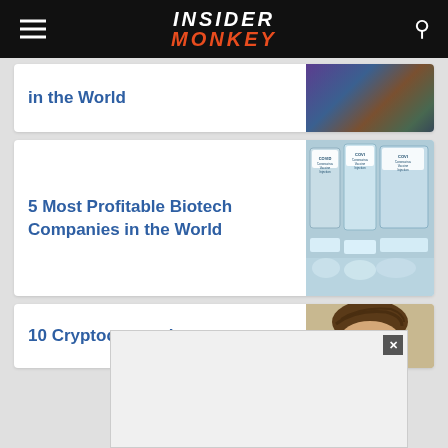Insider Monkey
in the World
[Figure (photo): Person in lab coat with purple gloves handling laboratory equipment]
5 Most Profitable Biotech Companies in the World
[Figure (photo): COVID-19 Coronavirus Vaccine Injection vials on production line]
10 Cryptocurrencies
[Figure (photo): Person with brown hair, partial view]
[Figure (other): Advertisement overlay with close button]